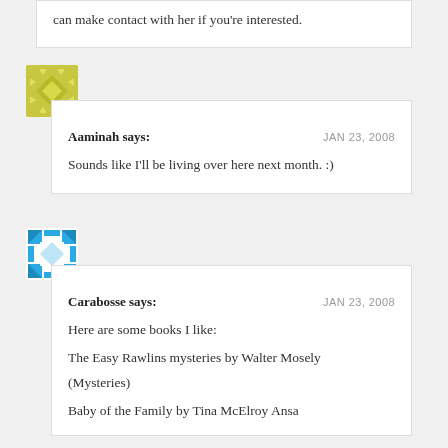can make contact with her if you're interested.
[Figure (illustration): Yellow/olive geometric avatar with diamond and triangle pattern]
Aaminah says: JAN 23, 2008

Sounds like I'll be living over here next month. :)
[Figure (illustration): Blue and white geometric avatar with square and triangle pattern]
Carabosse says: JAN 23, 2008

Here are some books I like:

The Easy Rawlins mysteries by Walter Mosely

(Mysteries)

Baby of the Family by Tina McElroy Ansa